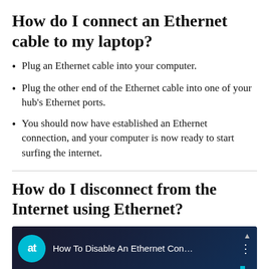How do I connect an Ethernet cable to my laptop?
Plug an Ethernet cable into your computer.
Plug the other end of the Ethernet cable into one of your hub's Ethernet ports.
You should now have established an Ethernet connection, and your computer is now ready to start surfing the internet.
How do I disconnect from the Internet using Ethernet?
[Figure (screenshot): Video thumbnail showing 'How To Disable An Ethernet Con...' with a teal 'at' logo on a dark background]